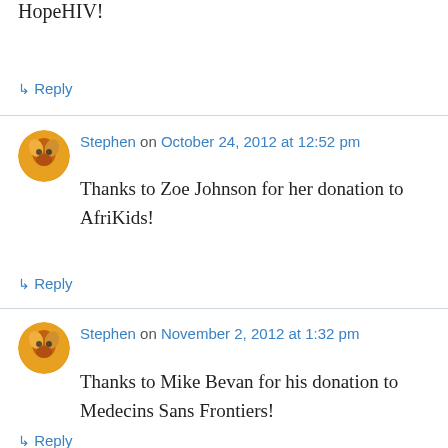HopeHIV!
↳ Reply
Stephen on October 24, 2012 at 12:52 pm
Thanks to Zoe Johnson for her donation to AfriKids!
↳ Reply
Stephen on November 2, 2012 at 1:32 pm
Thanks to Mike Bevan for his donation to Medecins Sans Frontiers!
↳ Reply